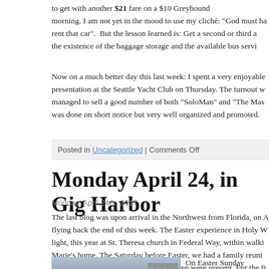to get with another $21 fare on a $10 Greyhound morning. I am not yet in the mood to use my cliché: "God must ha rent that car". But the lesson learned is: Get a second or third a the existence of the baggage storage and the available bus servi
Now on a much better day this last week: I spent a very enjoyable presentation at the Seattle Yacht Club on Thursday. The turnout w managed to sell a good number of both "SoloMan" and "The Mas was done on short notice but very well organized and promoted.
Posted in Uncategorized | Comments Off
Monday April 24, in Gig Harbor
Monday, April 24th, 2017
The last blog was upon arrival in the Northwest from Florida, on A flying back the end of this week. The Easter experience in Holy W light, this year at St. Theresa church in Federal Way, within walki Marie's home. The Saturday before Easter, we had a family reuni oldest daughter, Lisa. All my five children were present. For the fi Jens' wedding in 2014.
[Figure (photo): Group family photo of multiple people standing outdoors at dusk or evening, with a building visible in the background.]
On Easter Sunday to sit between Ro the mass of the R